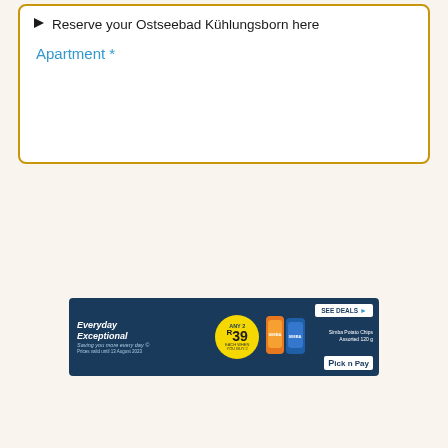Reserve your Ostseebad Kühlungsborn here
Apartment *
[Figure (screenshot): Pick n Pay advertisement banner. Dark blue background. Left side: 'Everyday Exceptional' in bold italic white text, tagline 'Saving you more every day' in light blue italic. Center: yellow circular badge with 'ANY 2 R39' pricing and small product details. Right of badge: image of Simba Potato Chips bags. Far right: white 'SEE DEALS ▶' button and Pick n Pay logo in white box.]